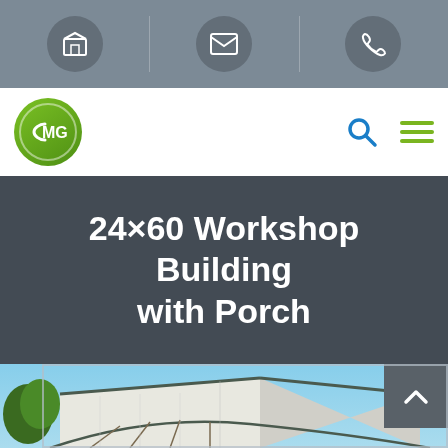[Figure (screenshot): Website header icon bar with three circular icons: a box/package icon, an envelope/email icon, and a phone icon, on a gray background with vertical dividers]
[Figure (logo): CMG company logo - green circle with MG letters inside, alongside a search icon and hamburger menu icon]
24×60 Workshop Building with Porch
[Figure (photo): Partial photo of a steel workshop building with porch/carport structure, metal roof, against a blue sky with trees visible]